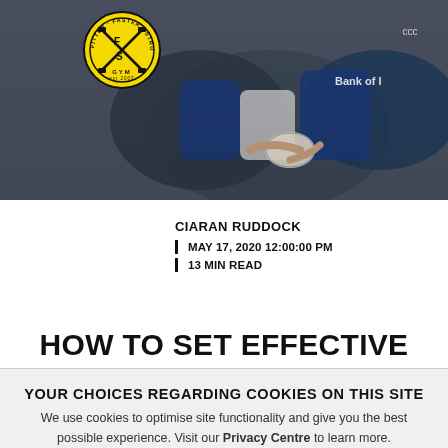[Figure (photo): Rugby players competing for the ball, with Bank of Ireland sponsorship visible. FFS (Fitter Faster Stronger) Gym logo overlaid in top-left corner — circular yellow badge with crossed barbells.]
CIARAN RUDDOCK
| MAY 17, 2020 12:00:00 PM
| 13 MIN READ
HOW TO SET EFFECTIVE
YOUR CHOICES REGARDING COOKIES ON THIS SITE
We use cookies to optimise site functionality and give you the best possible experience. Visit our Privacy Centre to learn more.
ALLOW ALL
MANAGE COOKIES